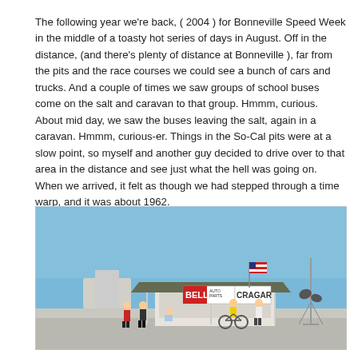The following year we're back, ( 2004 ) for Bonneville Speed Week in the middle of a toasty hot series of days in August. Off in the distance, (and there's plenty of distance at Bonneville ), far from the pits and the race courses we could see a bunch of cars and trucks. And a couple of times we saw groups of school buses come on the salt and caravan to that group. Hmmm, curious. About mid day, we saw the buses leaving the salt, again in a caravan. Hmmm, curious-er. Things in the So-Cal pits were at a slow point, so myself and another guy decided to drive over to that area in the distance and see just what the hell was going on. When we arrived, it felt as though we had stepped through a time warp, and it was about 1962.
[Figure (photo): Outdoor scene at Bonneville Salt Flats showing a small booth or stand with a green awning, signs reading BELL AUTO PARTS and CRAGAR, an American flag, loudspeakers on a tower to the right, and several people standing around including someone on a bicycle, under a clear blue sky.]